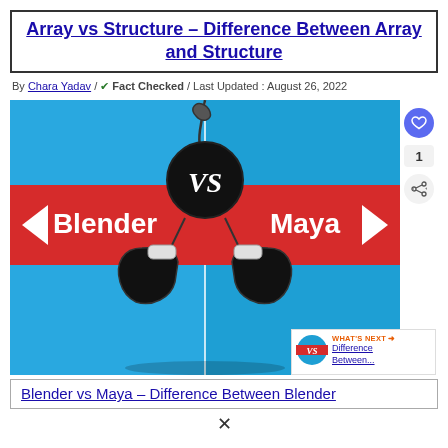Array vs Structure – Difference Between Array and Structure
By Chara Yadav / ✓ Fact Checked / Last Updated : August 26, 2022
[Figure (illustration): Blender vs Maya comparison graphic: blue background split by a red banner with 'Blender' on the left and 'Maya' on the right, a black circle with 'VS' in the center hanging from a rope with boxing gloves below. Side UI buttons: heart, 1, share. Bottom-right: WHAT'S NEXT thumbnail with 'Difference Between...']
Blender vs Maya – Difference Between Blender